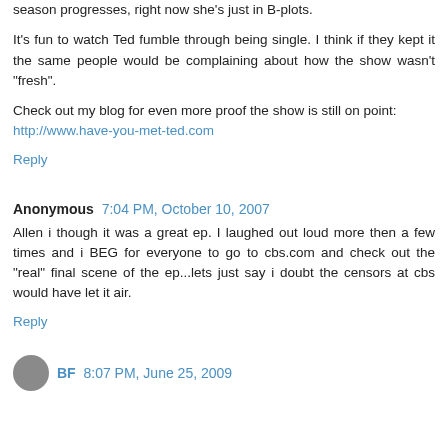season progresses, right now she's just in B-plots.
It's fun to watch Ted fumble through being single. I think if they kept it the same people would be complaining about how the show wasn't "fresh".
Check out my blog for even more proof the show is still on point:
http://www.have-you-met-ted.com
Reply
Anonymous 7:04 PM, October 10, 2007
Allen i though it was a great ep. I laughed out loud more then a few times and i BEG for everyone to go to cbs.com and check out the "real" final scene of the ep...lets just say i doubt the censors at cbs would have let it air.
Reply
BF 8:07 PM, June 25, 2009